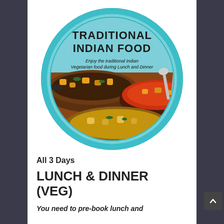[Figure (illustration): Circular badge/logo with teal border showing 'TRADITIONAL INDIAN FOOD' in bold black text, with subtitle 'Enjoy the traditional Indian Vegetarian food during Lunch and Dinner', and a photo of Indian food dishes (curries in pans) filling the lower portion of the circle.]
All 3 Days
LUNCH & DINNER (VEG)
You need to pre-book lunch and